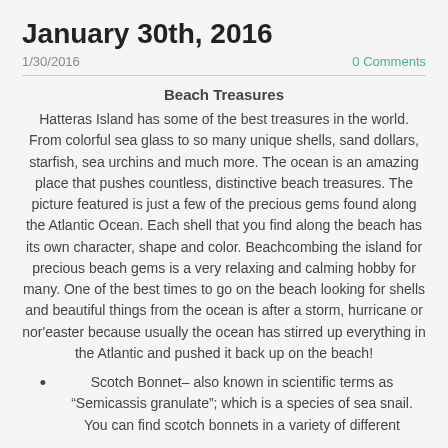January 30th, 2016
1/30/2016   0 Comments
Beach Treasures
Hatteras Island has some of the best treasures in the world. From colorful sea glass to so many unique shells, sand dollars, starfish, sea urchins and much more. The ocean is an amazing place that pushes countless, distinctive beach treasures. The picture featured is just a few of the precious gems found along the Atlantic Ocean. Each shell that you find along the beach has its own character, shape and color. Beachcombing the island for precious beach gems is a very relaxing and calming hobby for many. One of the best times to go on the beach looking for shells and beautiful things from the ocean is after a storm, hurricane or nor'easter because usually the ocean has stirred up everything in the Atlantic and pushed it back up on the beach!
Scotch Bonnet– also known in scientific terms as “Semicassis granulate”; which is a species of sea snail. You can find scotch bonnets in a variety of different